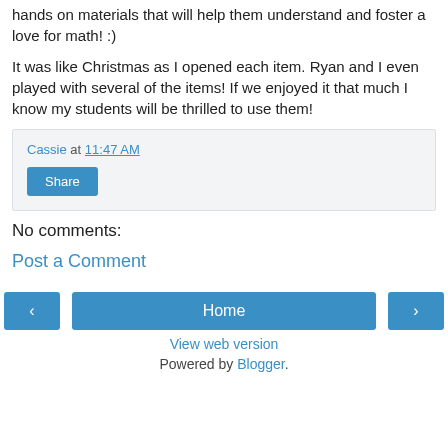hands on materials that will help them understand and foster a love for math! :)
It was like Christmas as I opened each item. Ryan and I even played with several of the items! If we enjoyed it that much I know my students will be thrilled to use them!
Cassie at 11:47 AM
Share
No comments:
Post a Comment
Home
View web version
Powered by Blogger.